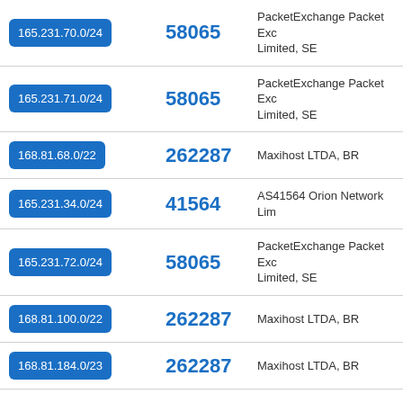| IP Range | ASN | Organization |
| --- | --- | --- |
| 165.231.70.0/24 | 58065 | PacketExchange Packet Exc Limited, SE |
| 165.231.71.0/24 | 58065 | PacketExchange Packet Exc Limited, SE |
| 168.81.68.0/22 | 262287 | Maxihost LTDA, BR |
| 165.231.34.0/24 | 41564 | AS41564 Orion Network Lim |
| 165.231.72.0/24 | 58065 | PacketExchange Packet Exc Limited, SE |
| 168.81.100.0/22 | 262287 | Maxihost LTDA, BR |
| 168.81.184.0/23 | 262287 | Maxihost LTDA, BR |